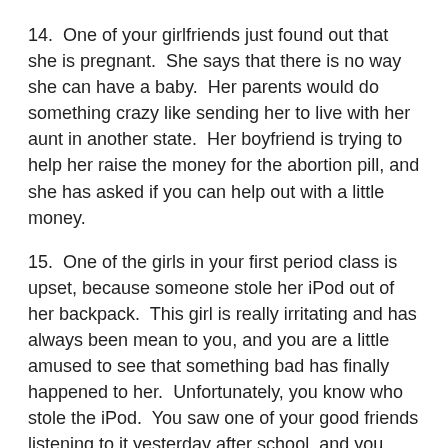14.  One of your girlfriends just found out that she is pregnant.  She says that there is no way she can have a baby.  Her parents would do something crazy like sending her to live with her aunt in another state.  Her boyfriend is trying to help her raise the money for the abortion pill, and she has asked if you can help out with a little money.
15.  One of the girls in your first period class is upset, because someone stole her iPod out of her backpack.  This girl is really irritating and has always been mean to you, and you are a little amused to see that something bad has finally happened to her.  Unfortunately, you know who stole the iPod.  You saw one of your good friends listening to it yesterday after school, and you know it is the same iPod because of a scratch that it has on the back cover.
16.  You are at a school social with some friends.  When it